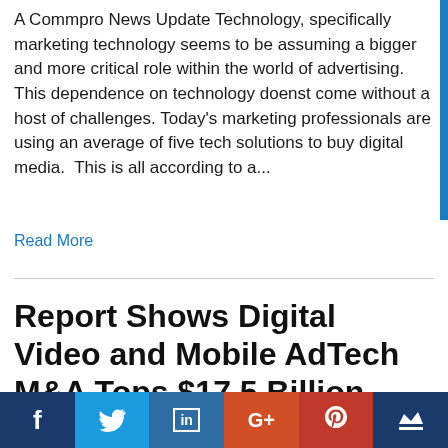A Commpro News Update Technology, specifically marketing technology seems to be assuming a bigger and more critical role within the world of advertising. This dependence on technology doenst come without a host of challenges. Today's marketing professionals are using an average of five tech solutions to buy digital media.  This is all according to a...
Read More
Report Shows Digital Video and Mobile AdTech M&A Tops $17.5 Billion